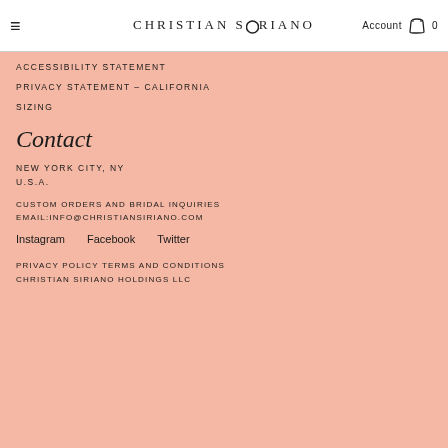CHRISTIAN SIRIANO  Account  0
ACCESSIBILITY STATEMENT
PRIVACY STATEMENT – CALIFORNIA
SIZING
Contact
NEW YORK CITY, NY
U.S.A.
CUSTOM ORDERS AND BRIDAL INQUIRIES
EMAIL:INFO@CHRISTIANSIRIANO.COM
Instagram   Facebook   Twitter
PRIVACY POLICY TERMS AND CONDITIONS
CHRISTIAN SIRIANO HOLDINGS LLC